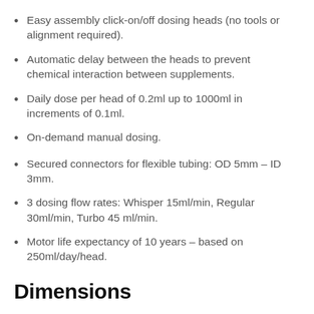Easy assembly click-on/off dosing heads (no tools or alignment required).
Automatic delay between the heads to prevent chemical interaction between supplements.
Daily dose per head of 0.2ml up to 1000ml in increments of 0.1ml.
On-demand manual dosing.
Secured connectors for flexible tubing: OD 5mm – ID 3mm.
3 dosing flow rates: Whisper 15ml/min, Regular 30ml/min, Turbo 45 ml/min.
Motor life expectancy of 10 years – based on 250ml/day/head.
Dimensions